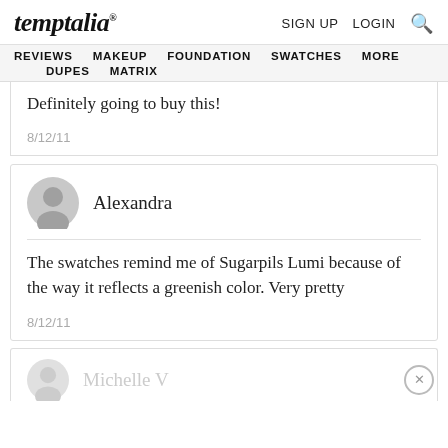temptalia® | SIGN UP  LOGIN  🔍
REVIEWS  MAKEUP  FOUNDATION  SWATCHES  MORE  DUPES  MATRIX
Definitely going to buy this!

8/12/11
Alexandra
The swatches remind me of Sugarpils Lumi because of the way it reflects a greenish color. Very pretty

8/12/11
Michelle V